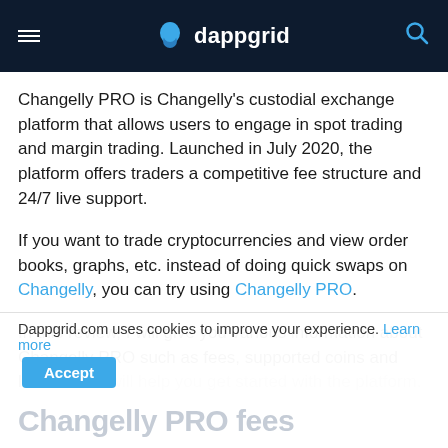dappgrid
Changelly PRO is Changelly's custodial exchange platform that allows users to engage in spot trading and margin trading. Launched in July 2020, the platform offers traders a competitive fee structure and 24/7 live support.
If you want to trade cryptocurrencies and view order books, graphs, etc. instead of doing quick swaps on Changelly, you can try using Changelly PRO.
In this review, I will give you various information about Changelly PRO such as fees, supported coins and limits which will help you get started with the platform.
Dappgrid.com uses cookies to improve your experience. Learn more
Changelly PRO fees